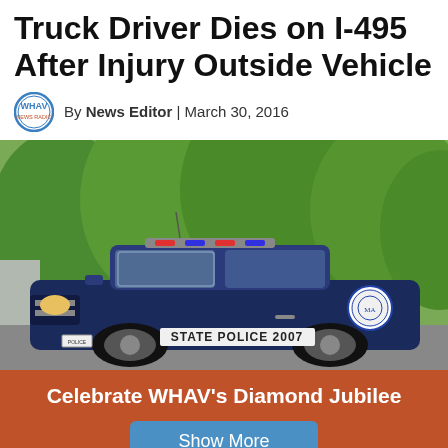Truck Driver Dies on I-495 After Injury Outside Vehicle
By News Editor | March 30, 2016
[Figure (photo): Massachusetts State Police cruiser (car number 2007) parked outdoors with green trees in background]
Celebrate WHAV's Diamond Jubilee
Show More